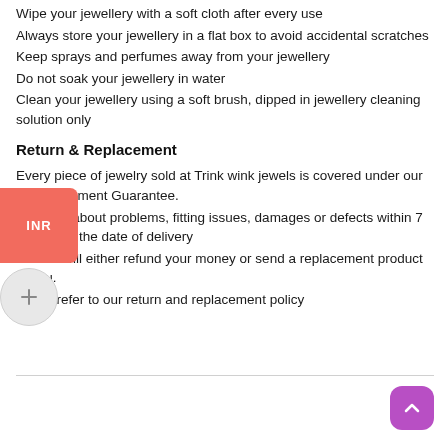Wipe your jewellery with a soft cloth after every use
Always store your jewellery in a flat box to avoid accidental scratches
Keep sprays and perfumes away from your jewellery
Do not soak your jewellery in water
Clean your jewellery using a soft brush, dipped in jewellery cleaning solution only
Return & Replacement
Every piece of jewelry sold at Trink wink jewels is covered under our 7-Replacement Guarantee.
Notify us about problems, fitting issues, damages or defects within 7 days from the date of delivery
and we will either refund your money or send a replacement product to you.
Kindly refer to our return and replacement policy